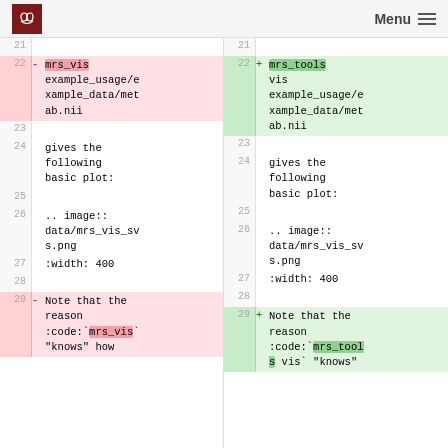Menu
| line_old | content_old | line_new | content_new |
| --- | --- | --- | --- |
| 21 |  | 21 |  |
| 22 | - mrs_vis example_usage/example_data/metab.nii | 22 | + mrs_tools vis example_usage/example_data/metab.nii |
| 23 |  | 23 |  |
| 24 | gives the following basic plot: | 24 | gives the following basic plot: |
| 25 |  | 25 |  |
| 26 | .. image:: data/mrs_vis_svs.png | 26 | .. image:: data/mrs_vis_svs.png |
| 27 |    :width: 400 | 27 |    :width: 400 |
| 28 |  | 28 |  |
| 29 | - Note that the reason :code:`mrs_vis` "knows" how | 29 | + Note that the reason :code:`mrs_tools vis` "knows" |